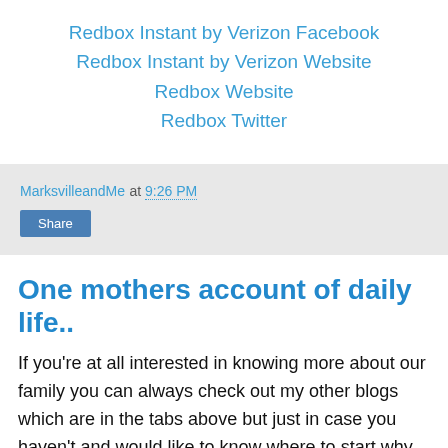Redbox Instant by Verizon Facebook
Redbox Instant by Verizon Website
Redbox Website
Redbox Twitter
MarksvilleandMe at 9:26 PM
Share
One mothers account of daily life..
If you're at all interested in knowing more about our family you can always check out my other blogs which are in the tabs above but just in case you haven't and would like to know where to start why not try One mothers account of daily life which should be updated more then it is, but life here is busy, I do what I can. I have so many things to write but finding the time to do it all around our schedules can be a